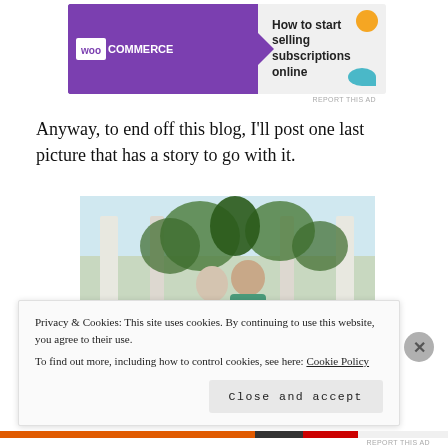[Figure (screenshot): WooCommerce advertisement banner: purple background with WooCommerce logo, green arrow, text 'How to start selling subscriptions online' with decorative colored shapes]
Anyway, to end off this blog, I'll post one last picture that has a story to go with it.
[Figure (photo): Two people (a woman and a man) standing together in what appears to be an open-air tropical resort lobby with palm trees visible in the background.]
Privacy & Cookies: This site uses cookies. By continuing to use this website, you agree to their use.
To find out more, including how to control cookies, see here: Cookie Policy